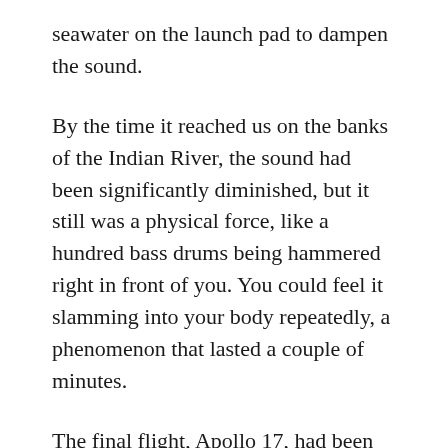seawater on the launch pad to dampen the sound.
By the time it reached us on the banks of the Indian River, the sound had been significantly diminished, but it still was a physical force, like a hundred bass drums being hammered right in front of you. You could feel it slamming into your body repeatedly, a phenomenon that lasted a couple of minutes.
The final flight, Apollo 17, had been scheduled to launch at 9:53pm on the 6th. With thirty seconds left one the countdown clock, a mechanical issue forced a delay. We had no idea why or how long the delay would last. My